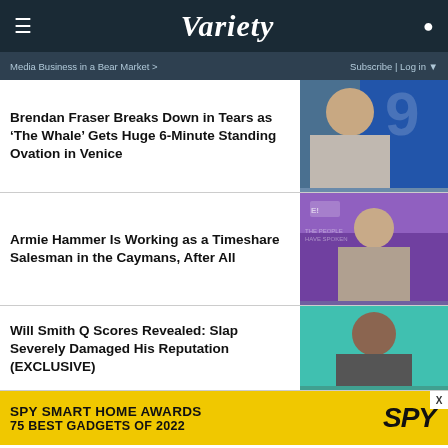VARIETY
Media Business in a Bear Market >      Subscribe | Log in
Brendan Fraser Breaks Down in Tears as 'The Whale' Gets Huge 6-Minute Standing Ovation in Venice
[Figure (photo): Brendan Fraser at Venice Film Festival event, blue background with the number 9]
Armie Hammer Is Working as a Timeshare Salesman in the Caymans, After All
[Figure (photo): Armie Hammer at E! People's Choice Awards event with purple/pink background]
Will Smith Q Scores Revealed: Slap Severely Damaged His Reputation (EXCLUSIVE)
[Figure (photo): Will Smith photo with teal/green background]
SPY SMART HOME AWARDS
75 BEST GADGETS OF 2022   SPY